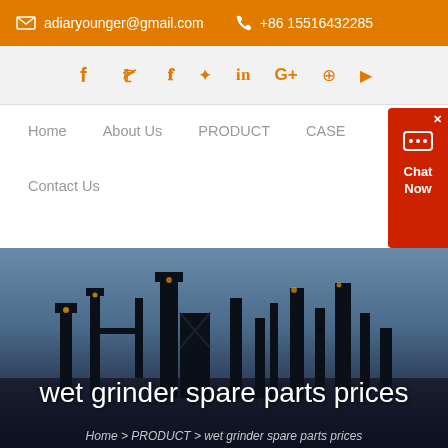adiaryounger@gmail.com  +86 15516432285
[Figure (screenshot): Social media icons: Facebook, Twitter, LinkedIn, Google+, Pinterest, YouTube in orange]
Home  About Us  PRODUCT  CASE  Contact Us
[Figure (screenshot): Chat Now widget in red on right side]
[Figure (photo): Industrial plant silhouette against dusk sky]
wet grinder spare parts prices
Home > PRODUCT > wet grinder spare parts prices